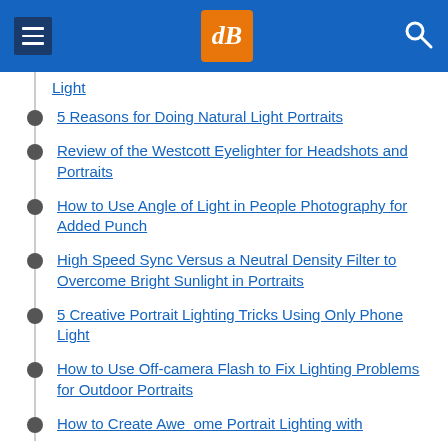dPS navigation header
Light
5 Reasons for Doing Natural Light Portraits
Review of the Westcott Eyelighter for Headshots and Portraits
How to Use Angle of Light in People Photography for Added Punch
High Speed Sync Versus a Neutral Density Filter to Overcome Bright Sunlight in Portraits
5 Creative Portrait Lighting Tricks Using Only Phone Light
How to Use Off-camera Flash to Fix Lighting Problems for Outdoor Portraits
How to Create Awe  ome Portrait Lighting with